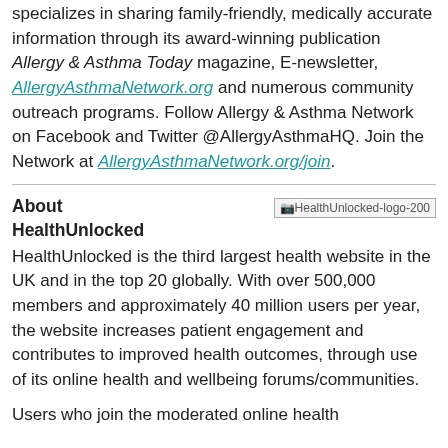specializes in sharing family-friendly, medically accurate information through its award-winning publication Allergy & Asthma Today magazine, E-newsletter, AllergyAsthmaNetwork.org and numerous community outreach programs. Follow Allergy & Asthma Network on Facebook and Twitter @AllergyAsthmaHQ. Join the Network at AllergyAsthmaNetwork.org/join.
About HealthUnlocked
[Figure (logo): HealthUnlocked logo placeholder image labeled 'HealthUnlocked-logo-200']
HealthUnlocked is the third largest health website in the UK and in the top 20 globally. With over 500,000 members and approximately 40 million users per year, the website increases patient engagement and contributes to improved health outcomes, through use of its online health and wellbeing forums/communities.
Users who join the moderated online health